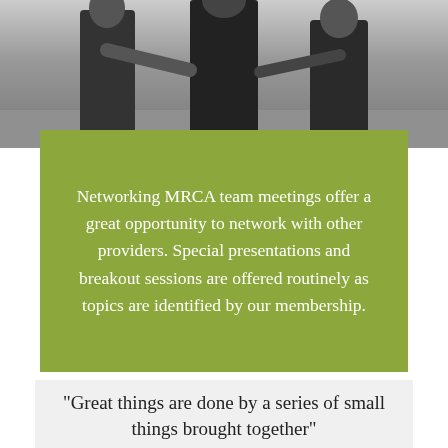[Figure (photo): Black and white photo of people in suits networking/meeting, shown from roughly waist down]
Networking MRCA team meetings offer a great opportunity to network with other providers. Special presentations and breakout sessions are offered routinely as topics are identified by our membership.
"Great things are done by a series of small things brought together"
Vincent Van Gogh